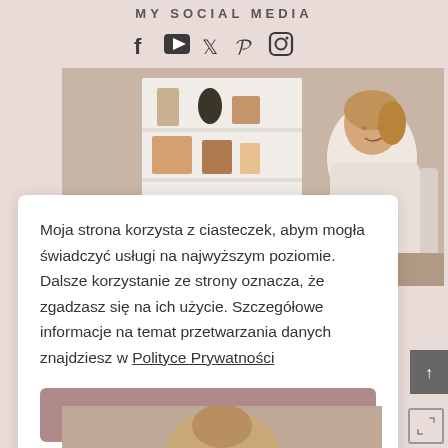MY SOCIAL MEDIA
[Figure (other): Social media icons: Facebook, YouTube, Twitter, Pinterest, Instagram]
[Figure (photo): Woman sitting in a cozy chair smiling, with a white shelving unit behind her holding books, baskets and plants]
Moja strona korzysta z ciasteczek, abym mogła świadczyć usługi na najwyższym poziomie. Dalsze korzystanie ze strony oznacza, że zgadzasz się na ich użycie. Szczegółowe informacje na temat przetwarzania danych znajdziesz w Polityce Prywatności
Zgadzam się